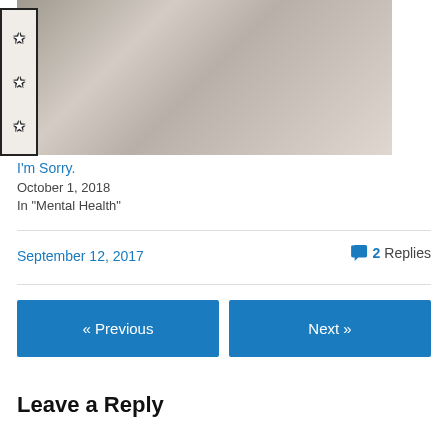[Figure (photo): Black and white yearbook-style photo of a young person with glasses, with a decorative border featuring stars on the left side]
I'm Sorry.
October 1, 2018
In "Mental Health"
September 12, 2017
2 Replies
« Previous
Next »
Leave a Reply